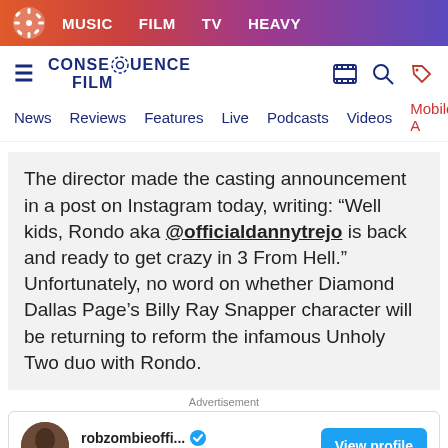MUSIC  FILM  TV  HEAVY
[Figure (screenshot): Consequence Film website logo and navigation header with hamburger menu, gear logo, search and tag icons]
News  Reviews  Features  Live  Podcasts  Videos  Mobile A
The director made the casting announcement in a post on Instagram today, writing: “Well kids, Rondo aka @officialdannytrejo is back and ready to get crazy in 3 From Hell.” Unfortunately, no word on whether Diamond Dallas Page’s Billy Ray Snapper character will be returning to reform the infamous Unholy Two duo with Rondo.
Advertisement
[Figure (screenshot): Instagram profile card for robzombieoffi... with verified checkmark, 2.4M followers and View profile button]